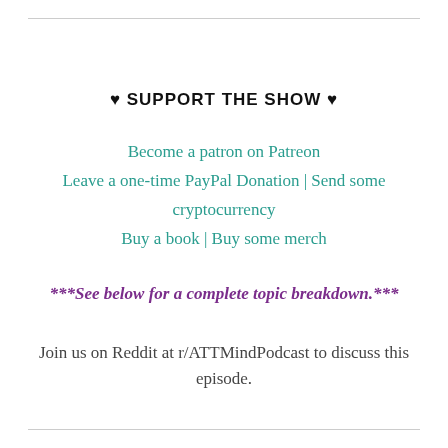♥ SUPPORT THE SHOW ♥
Become a patron on Patreon
Leave a one-time PayPal Donation | Send some cryptocurrency
Buy a book | Buy some merch
***See below for a complete topic breakdown.***
Join us on Reddit at r/ATTMindPodcast to discuss this episode.